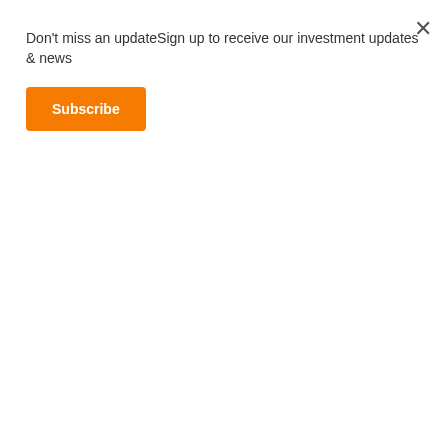Don't miss an updateSign up to receive our investment updates & news
Subscribe
[Figure (photo): A man in a dark suit with a tie sits at a white table with hands clasped together, viewed from mid-torso, no face visible]
Geoff Wilson: Principles for dealing with a crisis
Geoff Wilson, Founder of Wilson Asset Management and HM1 Director discusses the principles he has learnt navigating multiple market meltdowns over his career.